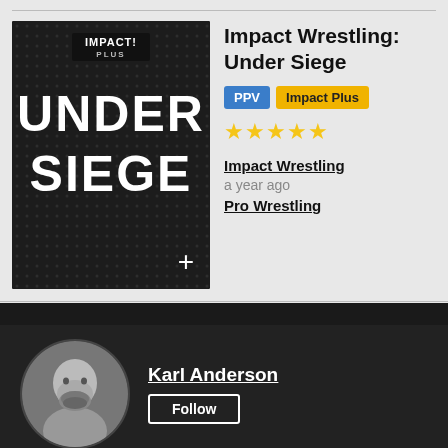[Figure (photo): Impact Wrestling: Under Siege DVD/event poster. Black background with 'UNDER SIEGE' text in large bold white letters, Impact Plus logo at top. A plus (+) button in the bottom right corner.]
Impact Wrestling: Under Siege
PPV  Impact Plus
★★★★★
Impact Wrestling
a year ago
Pro Wrestling
[Figure (photo): Circular profile photo of Karl Anderson, a bald/shaved head man with a beard, looking straight at camera against dark background.]
Karl Anderson
Follow